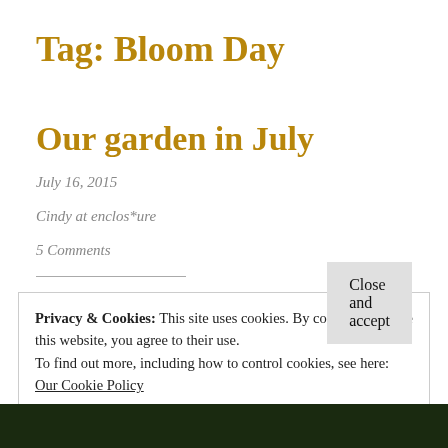Tag: Bloom Day
Our garden in July
July 16, 2015
Cindy at enclos*ure
5 Comments
Privacy & Cookies: This site uses cookies. By continuing to use this website, you agree to their use.
To find out more, including how to control cookies, see here: Our Cookie Policy
Close and accept
[Figure (photo): Dark garden photo strip at bottom of page]